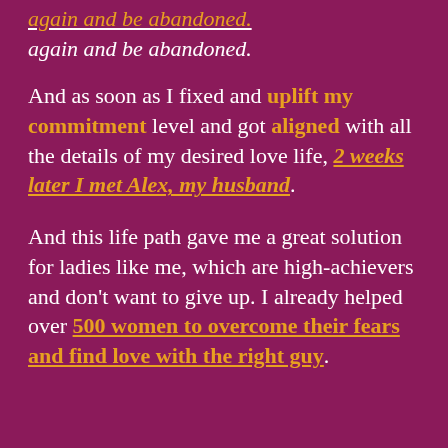again and be abandoned.
And as soon as I fixed and uplift my commitment level and got aligned with all the details of my desired love life, 2 weeks later I met Alex, my husband.
And this life path gave me a great solution for ladies like me, which are high-achievers and don't want to give up. I already helped over 500 women to overcome their fears and find love with the right guy.